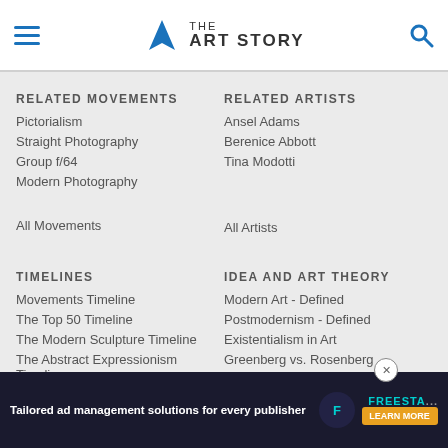THE ART STORY
RELATED MOVEMENTS
Pictorialism
Straight Photography
Group f/64
Modern Photography
All Movements
RELATED ARTISTS
Ansel Adams
Berenice Abbott
Tina Modotti
All Artists
TIMELINES
Movements Timeline
The Top 50 Timeline
The Modern Sculpture Timeline
The Abstract Expressionism Timeline
All Timelines
IDEA AND ART THEORY
Modern Art - Defined
Postmodernism - Defined
Existentialism in Art
Greenberg vs. Rosenberg
Full Section Overview